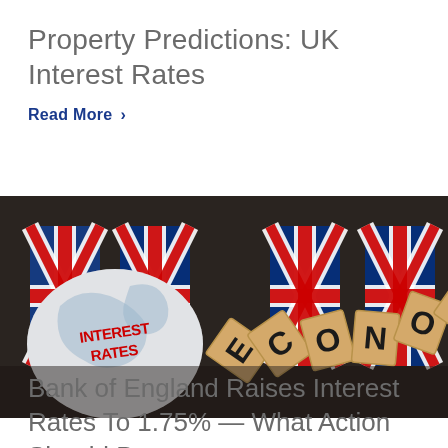Property Predictions: UK Interest Rates
Read More  ›
[Figure (photo): Decorative image showing wooden domino blocks with UK Union Jack flags printed on them, a white globe with 'INTEREST RATES' text stamped on it in red, and falling wooden letter tiles spelling 'ECONOMY' on a dark reflective surface.]
Bank of England Raises Interest Rates To 1.75% — What Action Should Property